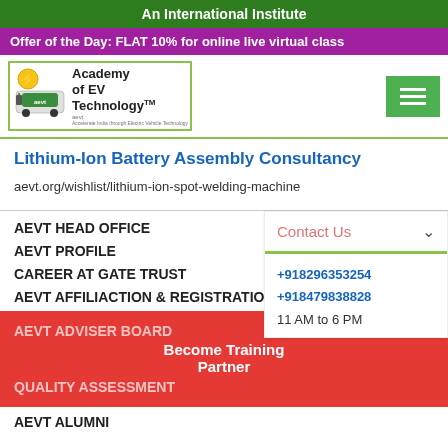An International Institute
Offer of the Day: FLAT 10% for online live virtual class
[Figure (logo): Academy of EV Technology (AEVT) logo with electric vehicle and charging icon]
Lithium-Ion Battery Assembly Consultancy
aevt.org/wishlist/lithium-ion-spot-welding-machine
AEVT HEAD OFFICE
AEVT PROFILE
CAREER AT GATE TRUST
AEVT AFFILIACTION & REGISTRATION
AEVT ADVISER BOARD
Become Training Partner
QUALITY ASSESSMENT
AEVT ALUMNI
Contact Us
+918296353254
+918479838828
11 AM to 6 PM